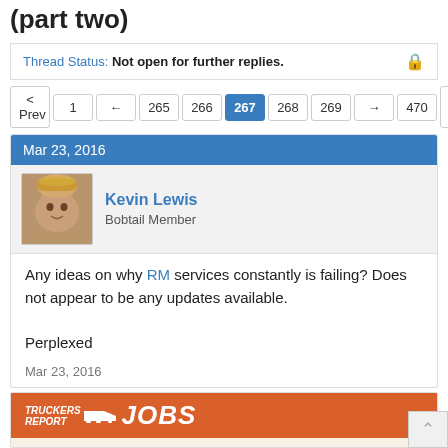(part two)
Thread Status: Not open for further replies.
< Prev  1  ←  265  266  267  268  269  →  470  Next >
Mar 23, 2016
Kevin Lewis
Bobtail Member
Any ideas on why RM services constantly is failing? Does not appear to be any updates available.

Perplexed
Mar 23, 2016
[Figure (logo): Truckers Report Jobs logo on orange background]